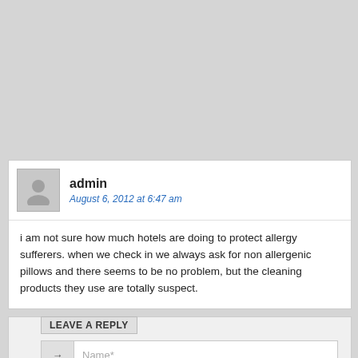admin
August 6, 2012 at 6:47 am
i am not sure how much hotels are doing to protect allergy sufferers. when we check in we always ask for non allergenic pillows and there seems to be no problem, but the cleaning products they use are totally suspect.
LEAVE A REPLY
Name*
E-mail*
Website